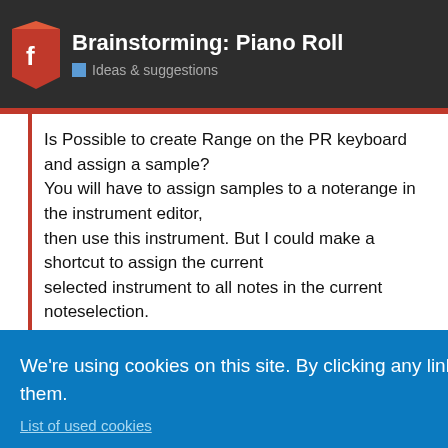Brainstorming: Piano Roll
Ideas & suggestions
Is Possible to create Range on the PR keyboard and assign a sample?
You will have to assign samples to a noterange in the instrument editor,
then use this instrument. But I could make a shortcut to assign the current
selected instrument to all notes in the current noteselection.
We're using cookies on this site. By clicking any link on this page you are giving your consent for us to use them.
List of used cookies
Got it!
I make good House Music With Pianoroll!